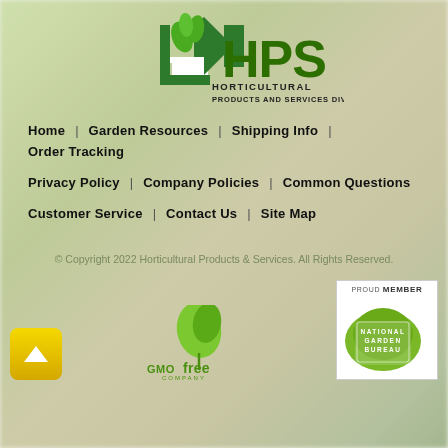[Figure (logo): HPS Horticultural Products and Services Div. logo with plant/house icon in green]
Home   Garden Resources   Shipping Info   Order Tracking
Privacy Policy   Company Policies   Common Questions
Customer Service   Contact Us   Site Map
© Copyright 2022 Horticultural Products & Services. All Rights Reserved.
[Figure (logo): GMO Free Company logo in green]
[Figure (logo): Proud Member National Garden Bureau badge]